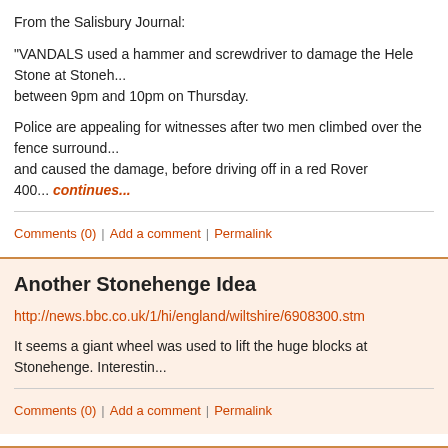From the Salisbury Journal:
"VANDALS used a hammer and screwdriver to damage the Hele Stone at Stoneh... between 9pm and 10pm on Thursday.
Police are appealing for witnesses after two men climbed over the fence surround... and caused the damage, before driving off in a red Rover 400... continues...
Comments (0)  |  Add a comment  |  Permalink
Another Stonehenge Idea
http://news.bbc.co.uk/1/hi/england/wiltshire/6908300.stm
It seems a giant wheel was used to lift the huge blocks at Stonehenge. Interestin...
Comments (0)  |  Add a comment  |  Permalink